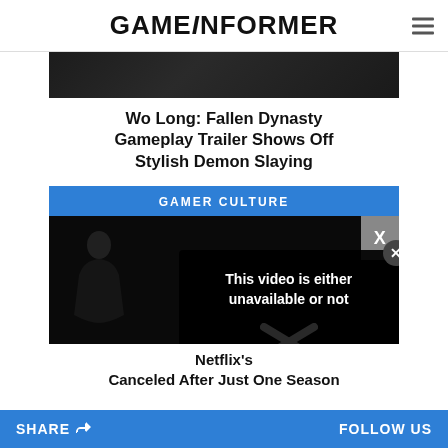GAMEINFORMER
[Figure (photo): Dark atmospheric game screenshot from Wo Long: Fallen Dynasty]
Wo Long: Fallen Dynasty Gameplay Trailer Shows Off Stylish Demon Slaying
GAMER CULTURE
[Figure (screenshot): Video player showing dark silhouette of a person, with an error overlay reading 'This video is either unavailable or not' and an OK button, plus an X close button on the modal and an X watermark on the video corner]
Netflix's Canceled After Just One Season